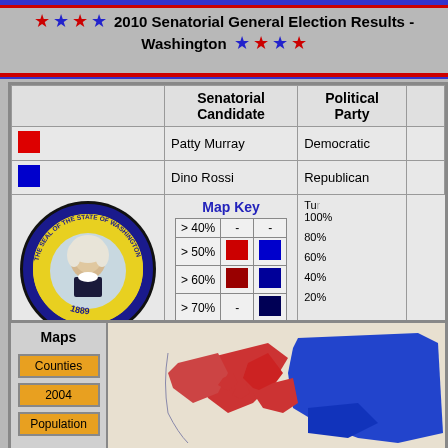2010 Senatorial General Election Results - Washington
|  | Senatorial Candidate | Political Party |
| --- | --- | --- |
| [red] | Patty Murray | Democratic |
| [blue] | Dino Rossi | Republican |
| [WA Seal] | Map Key: >40% - - / >50% red blue / >60% red blue / >70% - blue | Turnout 100% 80% 60% 40% 20% |
Maps
Counties
2004
Population
[Figure (map): Washington state counties map showing 2010 Senatorial election results, with Democratic (red) and Republican (blue) counties color-coded.]